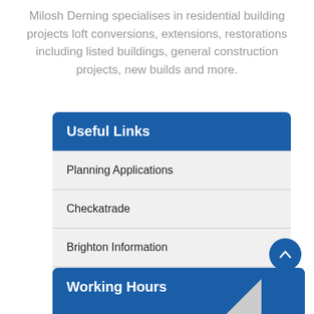Milosh Derning specialises in residential building projects loft conversions, extensions, restorations including listed buildings, general construction projects, new builds and more.
Useful Links
Planning Applications
Checkatrade
Brighton Information
About Loft conversion
Working Hours